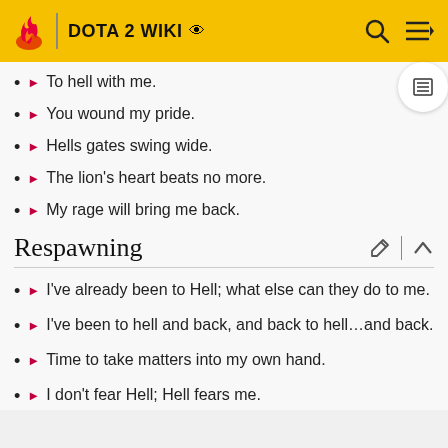DOTA 2 WIKI
To hell with me.
You wound my pride.
Hells gates swing wide.
The lion's heart beats no more.
My rage will bring me back.
Respawning
I've already been to Hell; what else can they do to me.
I've been to hell and back, and back to hell…and back.
Time to take matters into my own hand.
I don't fear Hell; Hell fears me.